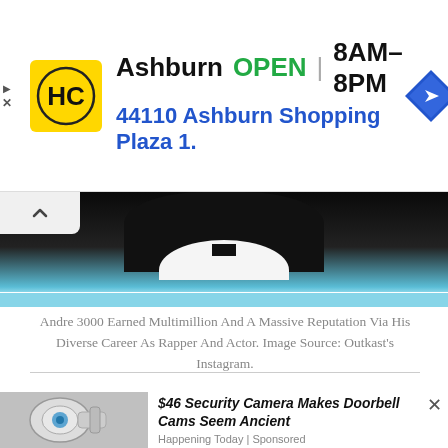[Figure (infographic): Advertisement banner for Hometown Charlie (HC) store in Ashburn, showing yellow logo, store name, OPEN status, hours 8AM-8PM, address 44110 Ashburn Shopping Plaza 1., and a blue navigation diamond icon.]
[Figure (photo): Partial photo of a person in formal black attire with white shirt and bow tie, against dark background, with a light blue bar across the bottom.]
Andre 3000 Earned Multimillion And A Massive Reputation Via His Diverse Career As Rapper And Actor. Image Source: Outkast's Instagram.
[Figure (photo): Partial photo of a security camera device, white/grey with blue elements, used in bottom advertisement.]
$46 Security Camera Makes Doorbell Cams Seem Ancient
Happening Today | Sponsored